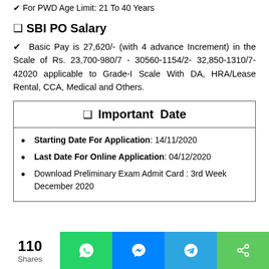✔ For PWD Age Limit: 21 To 40 Years
❑ SBI PO Salary
✔ Basic Pay is 27,620/- (with 4 advance Increment) in the Scale of Rs. 23,700-980/7 - 30560-1154/2- 32,850-1310/7-42020 applicable to Grade-I Scale With DA, HRA/Lease Rental, CCA, Medical and Others.
❑ Important Date
Starting Date For Application: 14/11/2020
Last Date For Online Application: 04/12/2020
Download Preliminary Exam Admit Card : 3rd Week December 2020
110 Shares